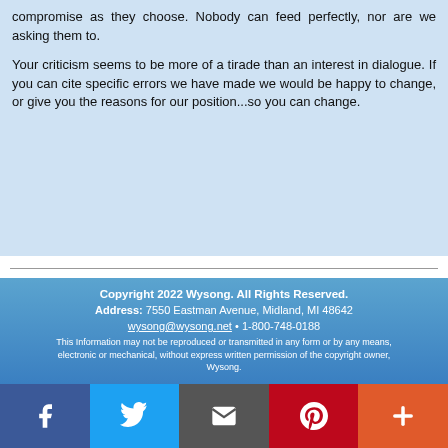compromise as they choose. Nobody can feed perfectly, nor are we asking them to.
Your criticism seems to be more of a tirade than an interest in dialogue. If you can cite specific errors we have made we would be happy to change, or give you the reasons for our position...so you can change.
Copyright 2022 Wysong. All Rights Reserved.
Address: 7550 Eastman Avenue, Midland, MI 48642
wysong@wysong.net • 1-800-748-0188
This Information may not be reproduced or transmitted in any form or by any means, electronic or mechanical, without express written permission of the copyright owner, Wysong.